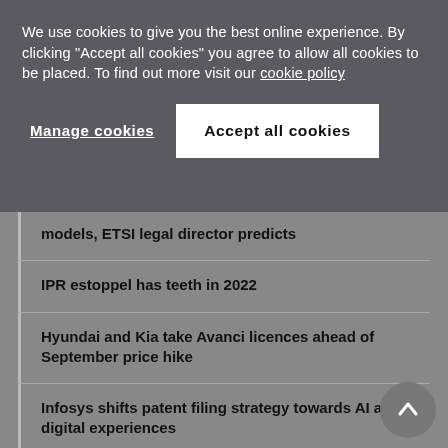We use cookies to give you the best online experience. By clicking "Accept all cookies" you agree to allow all cookies to be placed. To find out more visit our cookie policy
Manage cookies
Accept all cookies
models, ETSI legal director predicts
IPR estoppel has teeth in 2022
Hyundai and Kia take Avanci licences ahead of September price hike
Infosys shifts patent filing strategy towards AI and digital experiences